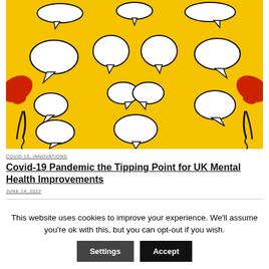[Figure (photo): Yellow background with multiple white speech bubble cutouts scattered across it, and two red telephone handsets on the left and right sides]
COVID-19, INNOVATIONS
Covid-19 Pandemic the Tipping Point for UK Mental Health Improvements
JUNE 14, 2022
This website uses cookies to improve your experience. We'll assume you're ok with this, but you can opt-out if you wish.